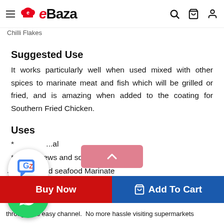eBaza
Chilli Flakes
Suggested Use
It works particularly well when used mixed with other spices to marinate meat and fish which will be grilled or fried, and is amazing when added to the coating for Southern Fried Chicken.
Uses
* Spicy stews and soups
* ... nd seafood Marinate
[Figure (screenshot): Google Translate floating bubble icon overlay]
[Figure (screenshot): WhatsApp floating chat bubble overlay]
[Figure (screenshot): Scroll to top pink button with upward chevron]
...rbs...st
through this easy channel.  No more hassle visiting supermarkets